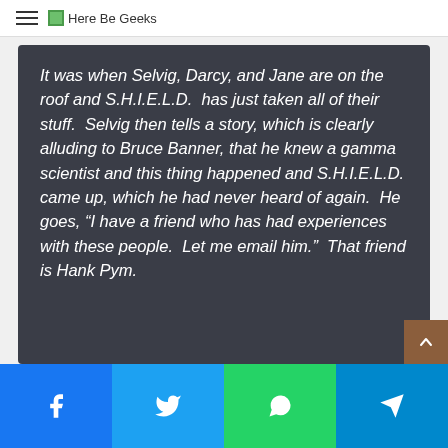Here Be Geeks
It was when Selvig, Darcy, and Jane are on the roof and S.H.I.E.L.D.  has just taken all of their stuff.  Selvig then tells a story, which is clearly alluding to Bruce Banner, that he knew a gamma scientist and this thing happened and S.H.I.E.L.D. came up, which he had never heard of again.  He goes, “I have a friend who has had experiences with these people.  Let me email him.”  That friend is Hank Pym.